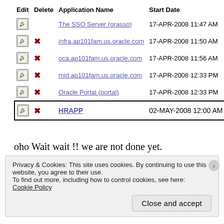| Edit | Delete | Application Name | Start Date |
| --- | --- | --- | --- |
| [edit] |  | The SSO Server (orasso) | 17-APR-2008 11:47 AM |
| [edit] | [x] | infra.ap101fam.us.oracle.com | 17-APR-2008 11:50 AM |
| [edit] | [x] | oca.ap101fam.us.oracle.com | 17-APR-2008 11:56 AM |
| [edit] | [x] | mid.ap101fam.us.oracle.com | 17-APR-2008 12:33 PM |
| [edit] | [x] | Oracle Portal (portal) | 17-APR-2008 12:33 PM |
| [edit] | [x] | HRAPP | 02-MAY-2008 12:00 AM |
oho Wait wait !! we are not done yet.
Privacy & Cookies: This site uses cookies. By continuing to use this website, you agree to their use.
To find out more, including how to control cookies, see here:
Cookie Policy